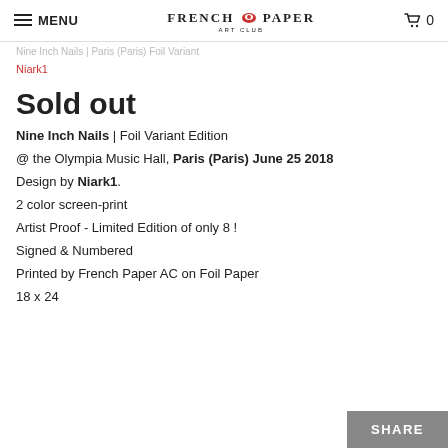FRENCH PAPER ART CLUB — MENU — Cart 0
Nine Inch Nails | Paris (Paris) Foil Variant
Niark1
Sold out
Nine Inch Nails | Foil Variant Edition
@ the Olympia Music Hall, Paris (Paris) June 25 2018
Design by Niark1.
2 color screen-print
Artist Proof - Limited Edition of only 8 !
Signed & Numbered
Printed by French Paper AC on Foil Paper
18 x 24